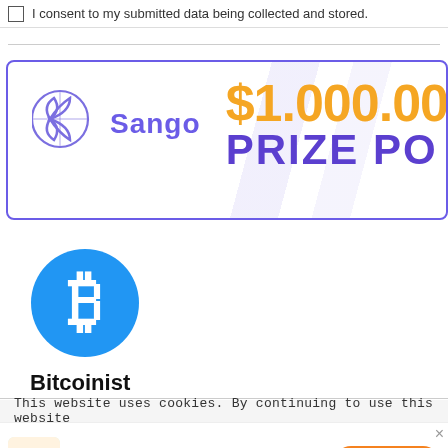I consent to my submitted data being collected and stored.
[Figure (infographic): Sango advertisement banner with logo on left and '$1.000.0 PRIZE PO' text (partially visible) on right in orange and purple]
[Figure (logo): Bitcoin logo - blue circle with white Bitcoin B symbol]
Bitcoinist
This website uses cookies. By continuing to use this website
[Figure (infographic): Tamadoge notification bar with dog mascot icon, TOP STORY: Tamadoge 100k Giveaway - LIVE NOW, and ENTER NOW orange button]